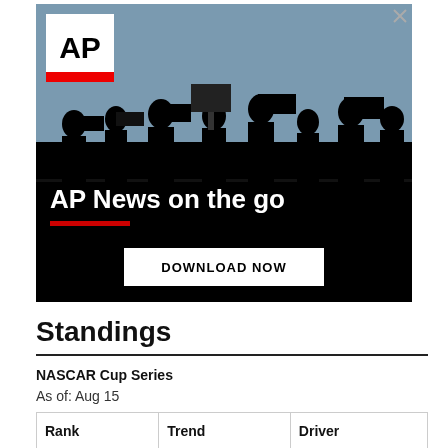[Figure (photo): AP News advertisement banner showing silhouettes of camera operators and journalists against a sky background, with AP logo, headline 'AP News on the go', red underline, and 'DOWNLOAD NOW' button]
Standings
NASCAR Cup Series
As of: Aug 15
| Rank | Trend | Driver |
| --- | --- | --- |